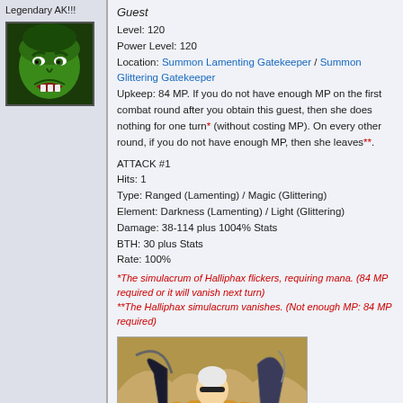Legendary AK!!!
[Figure (illustration): Green hulk-like angry face avatar image]
Guest
Level: 120
Power Level: 120
Location: Summon Lamenting Gatekeeper / Summon Glittering Gatekeeper
Upkeep: 84 MP. If you do not have enough MP on the first combat round after you obtain this guest, then she does nothing for one turn* (without costing MP). On every other round, if you do not have enough MP, then she leaves**.
ATTACK #1
Hits: 1
Type: Ranged (Lamenting) / Magic (Glittering)
Element: Darkness (Lamenting) / Light (Glittering)
Damage: 38-114 plus 1004% Stats
BTH: 30 plus Stats
Rate: 100%
*The simulacrum of Halliphax flickers, requiring mana. (84 MP required or it will vanish next turn)
**The Halliphax simulacrum vanishes. (Not enough MP: 84 MP required)
[Figure (illustration): Game character illustration: armored figure holding weapons, golden/tan tones]